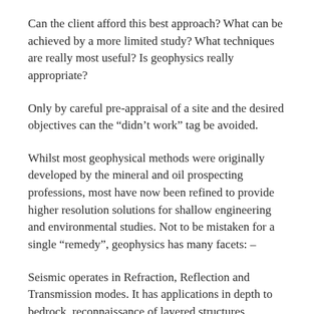Can the client afford this best approach? What can be achieved by a more limited study? What techniques are really most useful? Is geophysics really appropriate?
Only by careful pre-appraisal of a site and the desired objectives can the “didn’t work” tag be avoided.
Whilst most geophysical methods were originally developed by the mineral and oil prospecting professions, most have now been refined to provide higher resolution solutions for shallow engineering and environmental studies. Not to be mistaken for a single “remedy”, geophysics has many facets: –
Seismic operates in Refraction, Reflection and Transmission modes. It has applications in depth to bedrock, reconnaissance of layered structures, foundation studies and rock fracture conditions and detailed geological structure. A wide range of resolution is